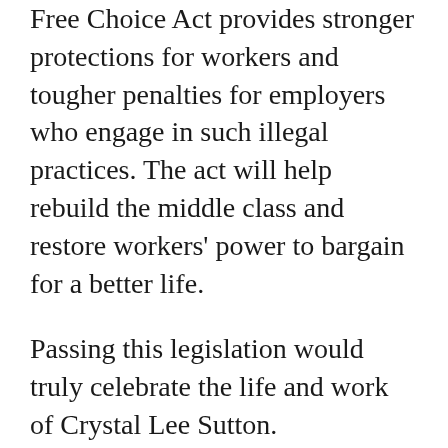Free Choice Act provides stronger protections for workers and tougher penalties for employers who engage in such illegal practices. The act will help rebuild the middle class and restore workers' power to bargain for a better life.
Passing this legislation would truly celebrate the life and work of Crystal Lee Sutton.
As her obituary writers have reminded us in the days since her death, in the early 1970s she was a 33-year-old mother of three, earning $2.65 an hour, folding towels at the J.P. Stevens plant in Roanoke Rapids, N.C., when she began the activism that would ultimately bring her fame. What motivated her? It was the low pay and